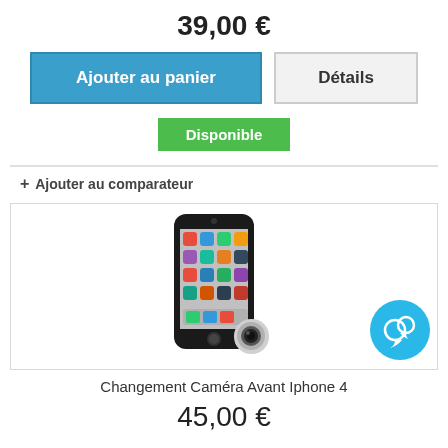39,00 €
Ajouter au panier
Détails
Disponible
+ Ajouter au comparateur
[Figure (photo): iPhone 4 with a camera lens attachment, product image for repair service]
Changement Caméra Avant Iphone 4
45,00 €